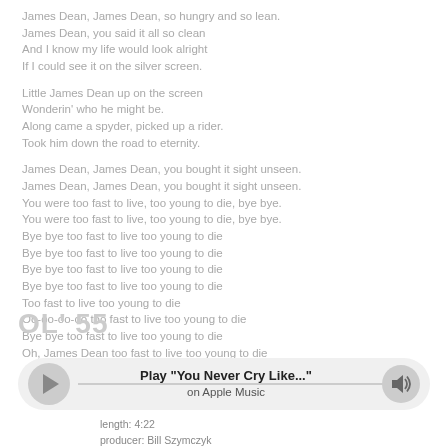James Dean, James Dean, so hungry and so lean.
James Dean, you said it all so clean
And I know my life would look alright
If I could see it on the silver screen.

Little James Dean up on the screen
Wonderin' who he might be.
Along came a spyder, picked up a rider.
Took him down the road to eternity.

James Dean, James Dean, you bought it sight unseen.
James Dean, James Dean, you bought it sight unseen.
You were too fast to live, too young to die, bye bye.
You were too fast to live, too young to die, bye bye.
Bye bye too fast to live too young to die
Bye bye too fast to live too young to die
Bye bye too fast to live too young to die
Bye bye too fast to live too young to die
Too fast to live too young to die
Oo-oo-oo-oo too fast to live too young to die
Bye bye too fast to live too young to die
Oh, James Dean too fast to live too young to die
OL' 55
[Figure (other): Apple Music player bar with play button, track title 'Play "You Never Cry Like..."', subtitle 'on Apple Music', progress line, and volume button]
length: 4:22
producer: Bill Szymczyk